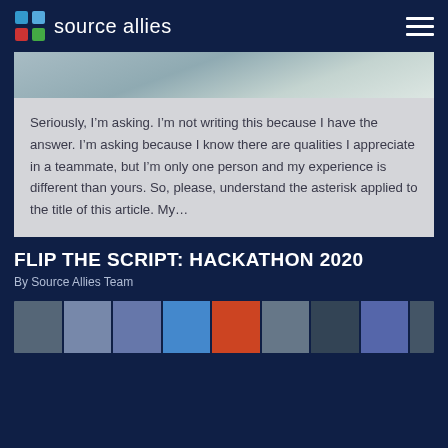source allies
[Figure (photo): Blurred/abstract background photo at top of article card]
Seriously, I’m asking. I’m not writing this because I have the answer. I’m asking because I know there are qualities I appreciate in a teammate, but I’m only one person and my experience is different than yours. So, please, understand the asterisk applied to the title of this article. My…
FLIP THE SCRIPT: HACKATHON 2020
By Source Allies Team
[Figure (photo): Strip of team member headshots/photos at bottom of page]